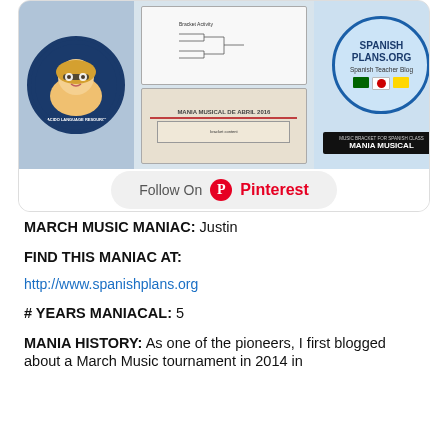[Figure (screenshot): Pinterest board preview showing Placido Language Resources circular logo (cartoon blonde woman with glasses), Spanish Plans.org badge, musical bracket activity images, and a Follow On Pinterest button]
MARCH MUSIC MANIAC: Justin
FIND THIS MANIAC AT:
http://www.spanishplans.org
# YEARS MANIACAL: 5
MANIA HISTORY: As one of the pioneers, I first blogged about a March Music tournament in 2014 in